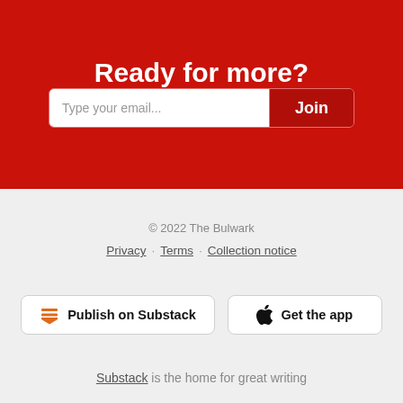Ready for more?
Type your email...
Join
© 2022 The Bulwark
Privacy · Terms · Collection notice
Publish on Substack
Get the app
Substack is the home for great writing